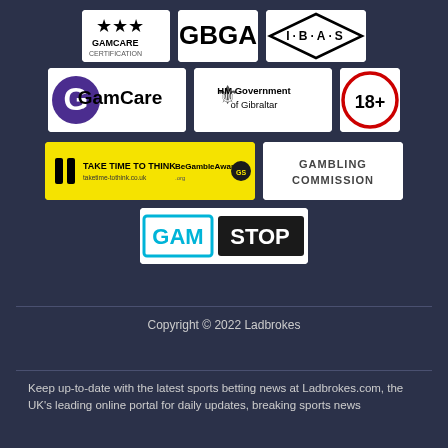[Figure (logo): GamCare Certification logo with three stars]
[Figure (logo): GBGA logo]
[Figure (logo): IBAS logo with diamond border]
[Figure (logo): GamCare logo with large G]
[Figure (logo): HM Government of Gibraltar logo]
[Figure (logo): 18+ age restriction logo]
[Figure (logo): Take Time to Think / BeGambleAware banner]
[Figure (logo): Gambling Commission logo]
[Figure (logo): GamStop logo]
Copyright © 2022 Ladbrokes
Keep up-to-date with the latest sports betting news at Ladbrokes.com, the UK's leading online portal for daily updates, breaking sports news